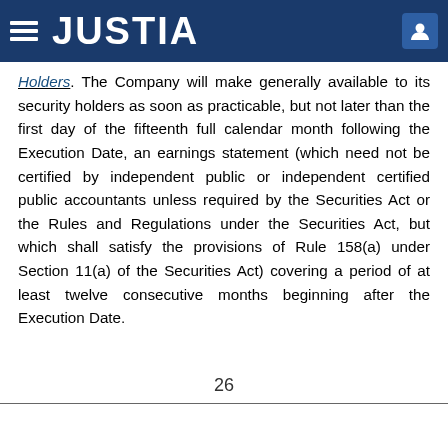JUSTIA
Holders. The Company will make generally available to its security holders as soon as practicable, but not later than the first day of the fifteenth full calendar month following the Execution Date, an earnings statement (which need not be certified by independent public or independent certified public accountants unless required by the Securities Act or the Rules and Regulations under the Securities Act, but which shall satisfy the provisions of Rule 158(a) under Section 11(a) of the Securities Act) covering a period of at least twelve consecutive months beginning after the Execution Date.
26